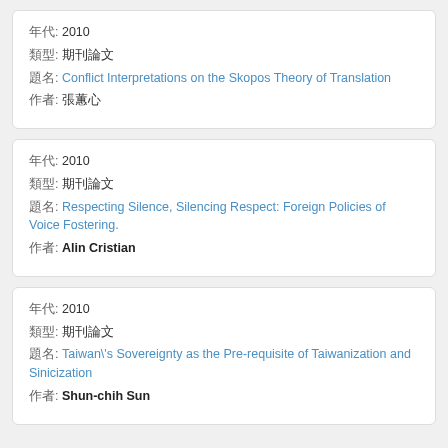年代: 2010
類型: 期刊論文
題名: Conflict Interpretations on the Skopos Theory of Translation
作者: 張蕙心
年代: 2010
類型: 期刊論文
題名: Respecting Silence, Silencing Respect: Foreign Policies of Voice Fostering.
作者: Alin Cristian
年代: 2010
類型: 期刊論文
題名: Taiwan\'s Sovereignty as the Pre-requisite of Taiwanization and Sinicization
作者: Shun-chih Sun